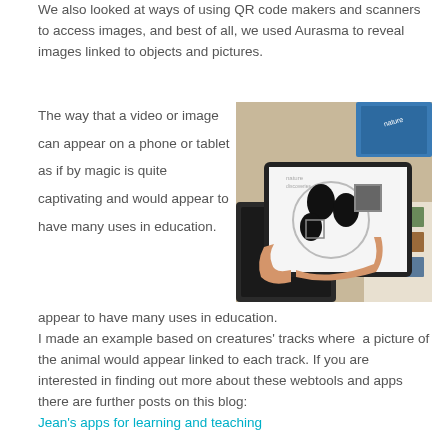We also looked at ways of using QR code makers and scanners to access images, and best of all, we used Aurasma to reveal images linked to objects and pictures.
The way that a video or image can appear on a phone or tablet as if by magic is quite captivating and would appear to have many uses in education.
[Figure (photo): A person holding a tablet displaying the Aurasma augmented reality app showing a panda face with tracks, surrounded by printed materials on a desk.]
I made an example based on creatures' tracks where a picture of the animal would appear linked to each track. If you are interested in finding out more about these webtools and apps there are further posts on this blog:
Jean's apps for learning and teaching